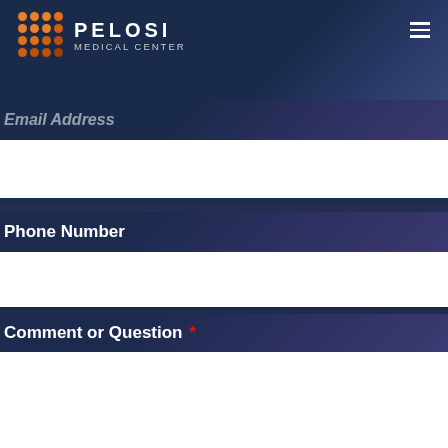[Figure (logo): Pelosi Medical Center logo with orange dot grid and white text]
Email Address
Phone Number
Comment or Question *
Submit